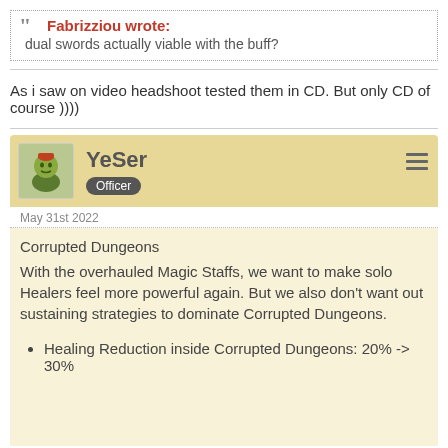Fabrizziou wrote: dual swords actually viable with the buff?
As i saw on video headshoot tested them in CD. But only CD of course ))))
YeSer — Officer
May 31st 2022
Corrupted Dungeons
With the overhauled Magic Staffs, we want to make solo Healers feel more powerful again. But we also don't want out sustaining strategies to dominate Corrupted Dungeons.
Healing Reduction inside Corrupted Dungeons: 20% -> 30%
this change only will nerf mercenary jacket.. the holy damage q not worth